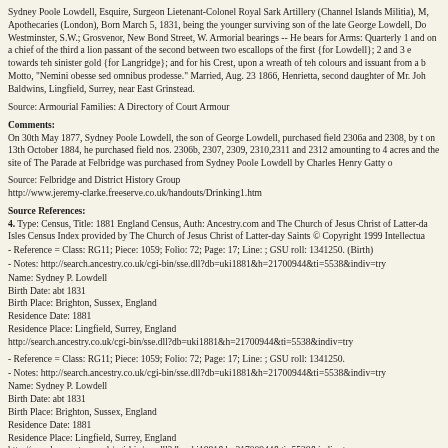Sydney Poole Lowdell, Esquire, Surgeon Lietenant-Colonel Royal Sark Artillery (Channel Islands Militia), M, Apothecaries (London), Born March 5, 1831, being the younger surviving son of the late George Lowdell, Do Westminster, S.W.; Grosvenor, New Bond Street, W. Armorial bearings -- He bears for Arms: Quarterly 1 and on a chief of the third a lion passant of the second between two escallops of the first {for Lowdell}; 2 and 3 e towards teh sinister gold {for Langridge}; and for his Crest, upon a wreath of teh colours and issuant from a b Motto, "Nemini obesse sed omnibus prodesse." Married, Aug. 23 1866, Henrietta, second daughter of Mr. Joh Baldwins, Lingfield, Surrey, near East Grinstead.
Source: Armourial Families: A Directory of Court Armour
Comments:
On 30th May 1877, Sydney Poole Lowdell, the son of George Lowdell, purchased field 2306a and 2308, by t on 13th October 1884, he purchased field nos. 2306b, 2307, 2309, 2310,2311 and 2312 amounting to 4 acres and the site of The Parade at Felbridge was purchased from Sydney Poole Lowdell by Charles Henry Gatty o
Source: Felbridge and District History Group
http://www.jeremy-clarke.freeserve.co.uk/handouts/Drinking1.htm
Source References:
4. Type: Census, Title: 1881 England Census, Auth: Ancestry.com and The Church of Jesus Christ of Latter-da Isles Census Index provided by The Church of Jesus Christ of Latter-day Saints © Copyright 1999 Intellectua
- Reference = Class: RG11; Piece: 1059; Folio: 72; Page: 17; Line: ; GSU roll: 1341250. (Birth)
- Notes: http://search.ancestry.co.uk/cgi-bin/sse.dll?db=uki1881&h=21700944&ti=5538&indiv=try
Name: Sydney P. Lowdell
Birth Date: abt 1831
Birth Place: Brighton, Sussex, England
Residence Date: 1881
Residence Place: Lingfield, Surrey, England
http://search.ancestry.co.uk/cgi-bin/sse.dll?db=uki1881&h=21700944&ti=5538&indiv=try
- Reference = Class: RG11; Piece: 1059; Folio: 72; Page: 17; Line: ; GSU roll: 1341250.
- Notes: http://search.ancestry.co.uk/cgi-bin/sse.dll?db=uki1881&h=21700944&ti=5538&indiv=try
Name: Sydney P. Lowdell
Birth Date: abt 1831
Birth Place: Brighton, Sussex, England
Residence Date: 1881
Residence Place: Lingfield, Surrey, England
http://search.ancestry.co.uk/cgi-bin/sse.dll?db=uki1881&h=21700944&ti=5538&indiv=try
- Reference = Class: RG11; Piece: 1059; Folio: 72; Page: 17; Line: ; GSU roll: 1341250. (Residence)
- Notes: http://search.ancestry.co.uk/cgi-bin/sse.dll?db=uki1881&h=21700944&ti=5538&indiv=try